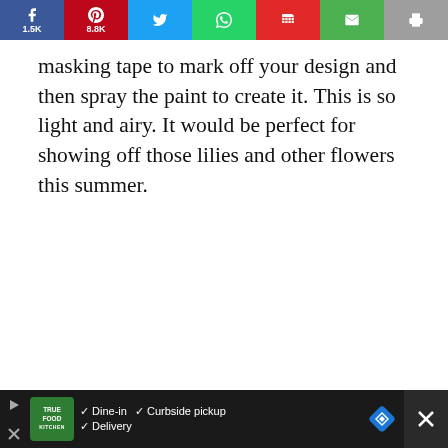[Figure (infographic): Social share bar with Facebook 1.5K, Pinterest 8.8K, Twitter, WhatsApp, Flipboard, Email, Print buttons]
masking tape to mark off your design and then spray the paint to create it. This is so light and airy. It would be perfect for showing off those lilies and other flowers this summer.
[Figure (infographic): Advertisement bar for True Food Kitchen with Dine-in, Curbside pickup, Delivery options and navigation icons]